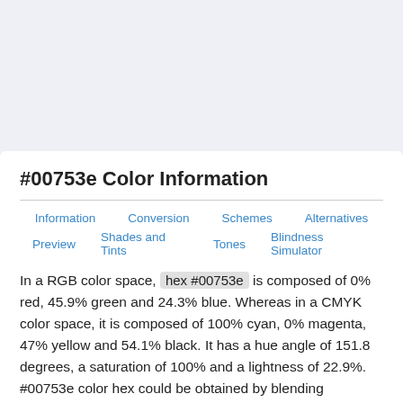#00753e Color Information
Information
Conversion
Schemes
Alternatives
Preview
Shades and Tints
Tones
Blindness Simulator
In a RGB color space, hex #00753e is composed of 0% red, 45.9% green and 24.3% blue. Whereas in a CMYK color space, it is composed of 100% cyan, 0% magenta, 47% yellow and 54.1% black. It has a hue angle of 151.8 degrees, a saturation of 100% and a lightness of 22.9%. #00753e color hex could be obtained by blending